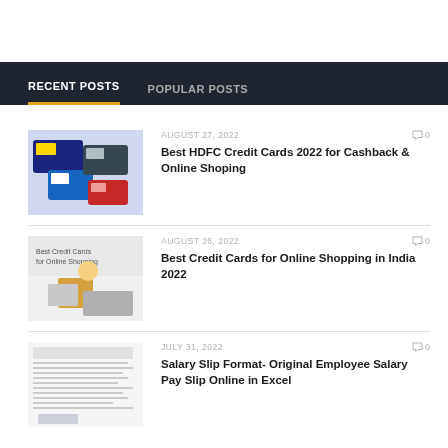RECENT POSTS
POPULAR POSTS
AUGUST 27, 2022
Best HDFC Credit Cards 2022 for Cashback & Online Shoping
AUGUST 26, 2022
Best Credit Cards for Online Shopping in India 2022
JULY 31, 2022
Salary Slip Format- Original Employee Salary Pay Slip Online in Excel